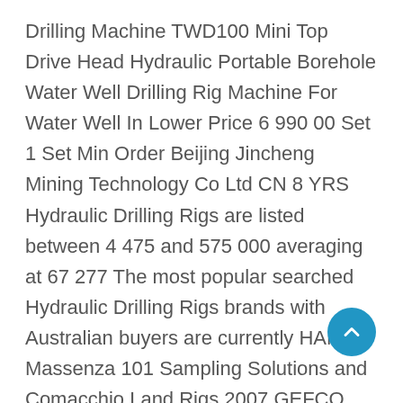Drilling Machine TWD100 Mini Top Drive Head Hydraulic Portable Borehole Water Well Drilling Rig Machine For Water Well In Lower Price 6 990 00 Set 1 Set Min Order Beijing Jincheng Mining Technology Co Ltd CN 8 YRS Hydraulic Drilling Rigs are listed between 4 475 and 575 000 averaging at 67 277 The most popular searched Hydraulic Drilling Rigs brands with Australian buyers are currently HANJIN Massenza 101 Sampling Solutions and Comacchio Land Rigs 2007 GEFCO STAR 185K 2010 GEFCO STAR 185K 2012 GEFCO STAR 185K Quantity 3 – Top Head Drive Hydraulic Drilling Rig – Mounted on 5 Axle